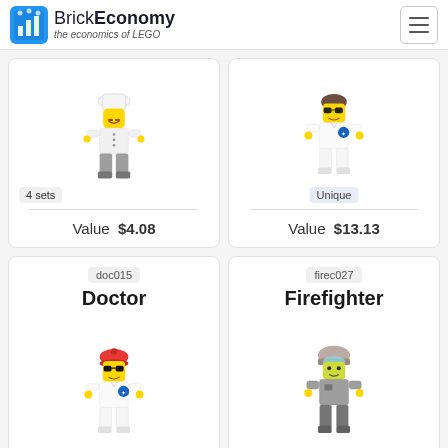BrickEconomy — the economics of LEGO
[Figure (photo): LEGO minifigure chef/cook with white hat, red bow tie, in white uniform with gray legs. Badge: 4 sets. Value $4.08]
[Figure (photo): LEGO minifigure doctor/paramedic with sunglasses, white uniform with blue star of life emblem. Badge: Unique. Value $13.13]
doc015
Doctor
firec027
Firefighter
[Figure (photo): LEGO minifigure doctor with red beanie hat, sunglasses, white medical uniform with star of life]
[Figure (photo): LEGO minifigure firefighter in gray suit with helmet and visor]